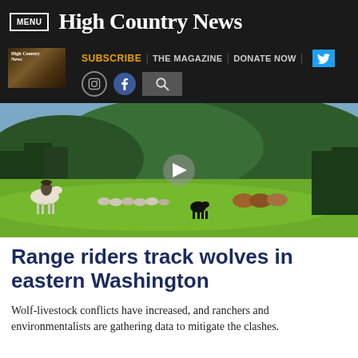MENU | High Country News
SUBSCRIBE | THE MAGAZINE | DONATE NOW | [twitter] [instagram] [facebook] [search]
[Figure (photo): A ranch scene in a green mountain valley. A rider on a white horse herds livestock across a grassy field. A black dog runs nearby, cattle and sheep visible in the background. Forested hills and mountains in the distance. A video play button overlay is visible.]
Range riders track wolves in eastern Washington
Wolf-livestock conflicts have increased, and ranchers and environmentalists are gathering data to mitigate the clashes.